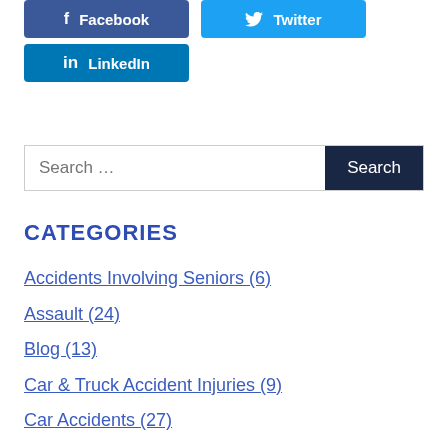[Figure (other): Facebook social share button (blue)]
[Figure (other): Twitter social share button (light blue)]
[Figure (other): LinkedIn social share button (dark blue)]
Search ...
CATEGORIES
Accidents Involving Seniors (6)
Assault (24)
Blog (13)
Car & Truck Accident Injuries (9)
Car Accidents (27)
Cdl Violations (2)